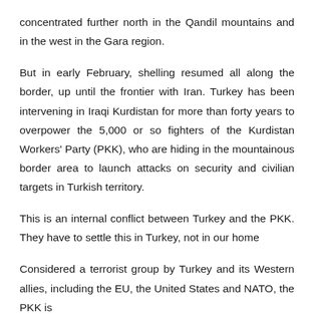concentrated further north in the Qandil mountains and in the west in the Gara region.
But in early February, shelling resumed all along the border, up until the frontier with Iran. Turkey has been intervening in Iraqi Kurdistan for more than forty years to overpower the 5,000 or so fighters of the Kurdistan Workers' Party (PKK), who are hiding in the mountainous border area to launch attacks on security and civilian targets in Turkish territory.
This is an internal conflict between Turkey and the PKK. They have to settle this in Turkey, not in our home
Considered a terrorist group by Turkey and its Western allies, including the EU, the United States and NATO, the PKK is